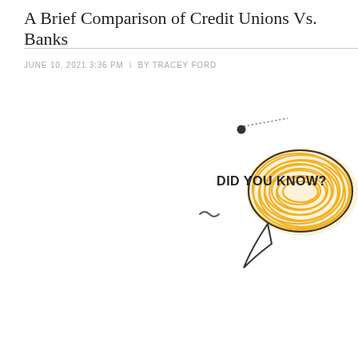A Brief Comparison of Credit Unions Vs. Banks
JUNE 10, 2021 3:36 PM  \  BY TRACEY FORD
[Figure (illustration): Speech bubble illustration with golden/yellow scribble fill and text 'Did you know?' in bold handwritten style, with decorative dotted lines, squiggle, and small circle elements around the bubble]